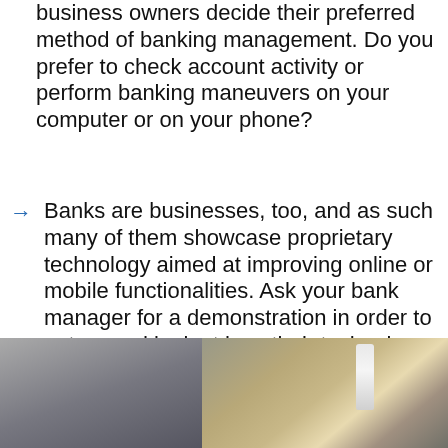business owners decide their preferred method of banking management. Do you prefer to check account activity or perform banking maneuvers on your computer or on your phone?
Banks are businesses, too, and as such many of them showcase proprietary technology aimed at improving online or mobile functionalities. Ask your bank manager for a demonstration in order to get a good look at how their technology functions in action.
[Figure (photo): A blurred photograph showing a laptop or computer screen on the left side and a person's hands with items on a desk on the right side, with a white bottle visible.]